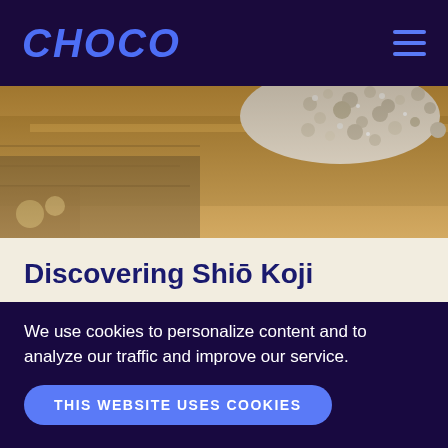CHOCO
[Figure (photo): Close-up photo of koji rice grains in a wooden tray, warm golden-brown tones with white mold visible on the grains]
Discovering Shiō Koji
The fermenting fungus that wound up in everything
We use cookies to personalize content and to analyze our traffic and improve our service.
THIS WEBSITE USES COOKIES